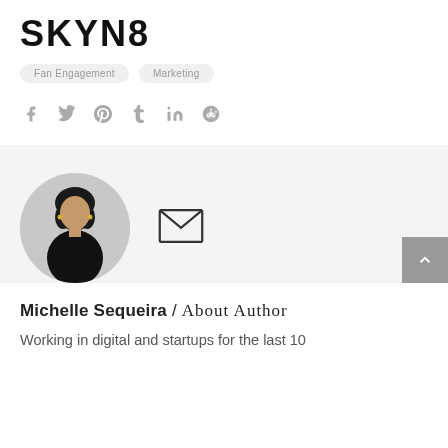SKYN8
Fan Engagement   Marketing
[Figure (infographic): Social media share icons: facebook, twitter, pinterest, tumblr, linkedin, reddit in grey]
[Figure (photo): Circular profile photo of Michelle Sequeira, a young woman in a black outfit, with curly dark hair, standing outdoors]
[Figure (infographic): Email/envelope icon outline]
Michelle Sequeira / About Author
Working in digital and startups for the last 10